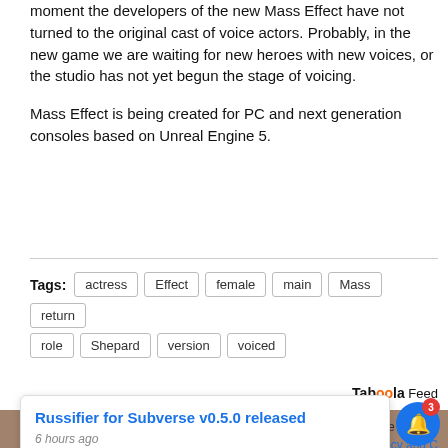moment the developers of the new Mass Effect have not turned to the original cast of voice actors. Probably, in the new game we are waiting for new heroes with new voices, or the studio has not yet begun the stage of voicing.
Mass Effect is being created for PC and next generation consoles based on Unreal Engine 5.
Tags: actress  Effect  female  main  Mass  return  role  Shepard  version  voiced
Taboola Feed
Russifier for Subverse v0.5.0 released
6 hours ago
his website you are
rivacy and
Policy.  I Agree